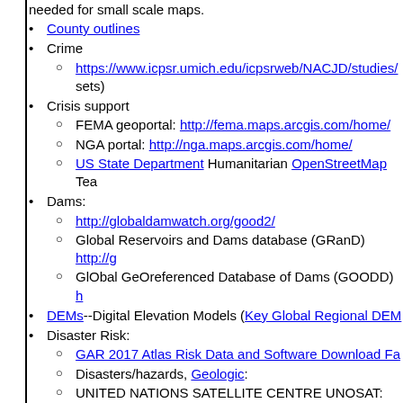needed for small scale maps.
County outlines
Crime
https://www.icpsr.umich.edu/icpsrweb/NACJD/studies/ sets)
Crisis support
FEMA geoportal: http://fema.maps.arcgis.com/home/
NGA portal: http://nga.maps.arcgis.com/home/
US State Department Humanitarian OpenStreetMap Tea
Dams:
http://globaldamwatch.org/good2/
Global Reservoirs and Dams database (GRanD) http://g
GlObal GeOreferenced Database of Dams (GOODD) h
DEMs--Digital Elevation Models (Key Global Regional DEM
Disaster Risk:
GAR 2017 Atlas Risk Data and Software Download Fa
Disasters/hazards, Geologic:
UNITED NATIONS SATELLITE CENTRE UNOSAT: development-goals/united-nations-satellite-centre-UNC
DRGs (scanned maps)
Drought
US https://www.drought.gov/drought/data-maps-tools
North America: https://www.drought.gov/nadm/content
Global: https://www.drought.gov/gdm/content/welcome
Economic and demographic data